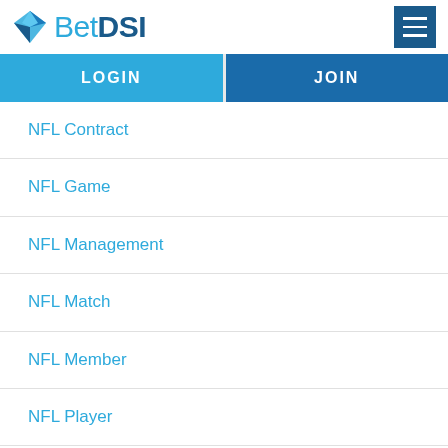[Figure (logo): BetDSI logo with diamond icon and hamburger menu button]
LOGIN
JOIN
NFL Contract
NFL Game
NFL Management
NFL Match
NFL Member
NFL Player
NFL Team
NHL
PGA